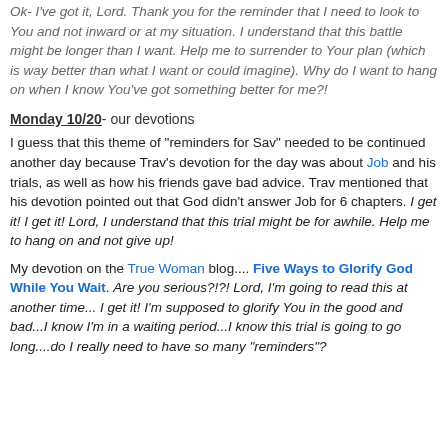Ok- I've got it, Lord. Thank you for the reminder that I need to look to You and not inward or at my situation. I understand that this battle might be longer than I want. Help me to surrender to Your plan (which is way better than what I want or could imagine). Why do I want to hang on when I know You've got something better for me?!
Monday 10/20- our devotions
I guess that this theme of "reminders for Sav" needed to be continued another day because Trav's devotion for the day was about Job and his trials, as well as how his friends gave bad advice. Trav mentioned that his devotion pointed out that God didn't answer Job for 6 chapters. I get it! I get it! Lord, I understand that this trial might be for awhile. Help me to hang on and not give up!
My devotion on the True Woman blog.... Five Ways to Glorify God While You Wait. Are you serious?!?! Lord, I'm going to read this at another time... I get it! I'm supposed to glorify You in the good and bad...I know I'm in a waiting period...I know this trial is going to go long....do I really need to have so many "reminders"?